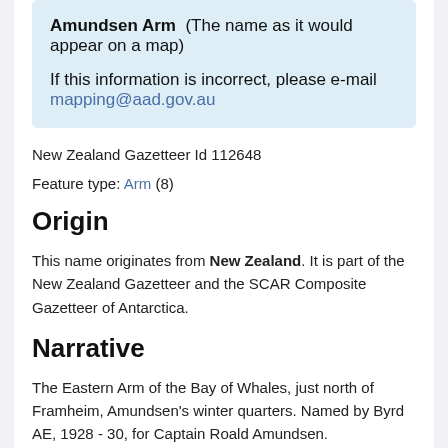Amundsen Arm (The name as it would appear on a map)

If this information is incorrect, please e-mail mapping@aad.gov.au
New Zealand Gazetteer Id 112648
Feature type: Arm (8)
Origin
This name originates from New Zealand. It is part of the New Zealand Gazetteer and the SCAR Composite Gazetteer of Antarctica.
Narrative
The Eastern Arm of the Bay of Whales, just north of Framheim, Amundsen's winter quarters. Named by Byrd AE, 1928 - 30, for Captain Roald Amundsen.